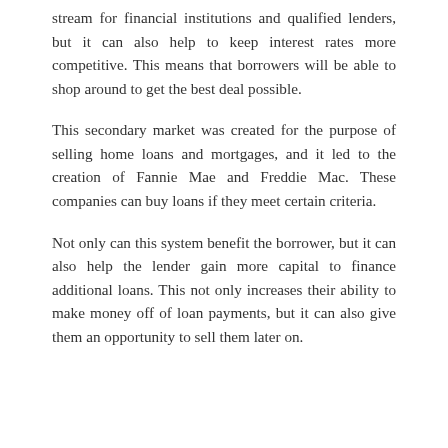stream for financial institutions and qualified lenders, but it can also help to keep interest rates more competitive. This means that borrowers will be able to shop around to get the best deal possible.
This secondary market was created for the purpose of selling home loans and mortgages, and it led to the creation of Fannie Mae and Freddie Mac. These companies can buy loans if they meet certain criteria.
Not only can this system benefit the borrower, but it can also help the lender gain more capital to finance additional loans. This not only increases their ability to make money off of loan payments, but it can also give them an opportunity to sell them later on.